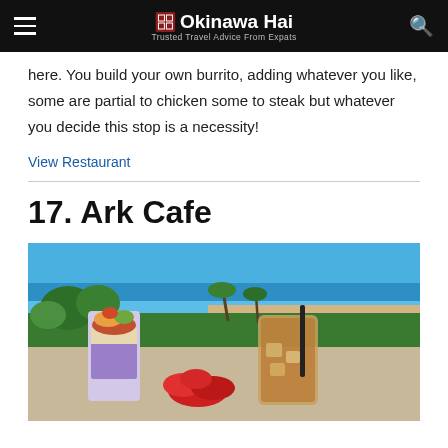Okinawa Hai — Trusted Travel Advice From Expats
here. You build your own burrito, adding whatever you like, some are partial to chicken some to steak but whatever you decide this stop is a necessity!
View Restaurant
17. Ark Cafe
[Figure (photo): Photo of cafe drinks on a table with an ocean and tropical scenery in the background. A colorful parfait-style dessert drink and an iced tea with a black straw are in the foreground, with red flowers. Blue ocean, sandy beach, palm trees, and lush greenery visible behind.]